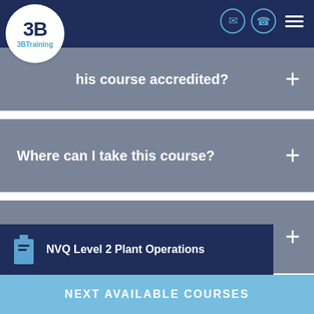[Figure (logo): 3B Training logo — white circle with '3B' in navy and 'Training' in blue]
Is this course accredited?
Where can I take this course?
Further Development
You may also be interested in?...
NVQ Level 2 Plant Operations
NEXT AVAILABLE COURSES